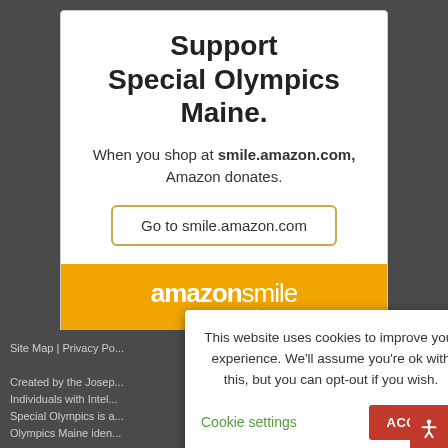Support Special Olympics Maine.
When you shop at smile.amazon.com, Amazon donates.
Go to smile.amazon.com
[Figure (logo): amazonsmile logo with orange background and curved arrow]
Site Map | Privacy Po...
Created by the Josep... Individuals with Intel... Special Olympics is a... Olympics Maine iden...
This website uses cookies to improve your experience. We'll assume you're ok with this, but you can opt-out if you wish.
Cookie settings   ACCEPT